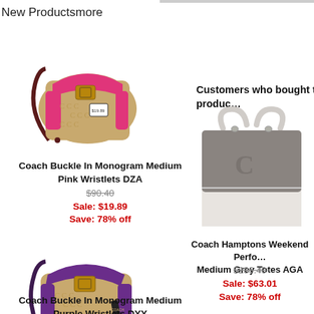New Productsmore
[Figure (photo): Coach Buckle In Monogram Medium Pink Wristlets DZA - pink and tan monogram wristlet bag]
Coach Buckle In Monogram Medium Pink Wristlets DZA
$90.40
Sale: $19.89
Save: 78% off
[Figure (photo): Coach Buckle In Monogram Medium Purple Wristlets DYY - purple and tan monogram wristlet bag]
Coach Buckle In Monogram Medium Purple Wristlets DYY
Customers who bought this product
[Figure (photo): Coach Hamptons Weekend Perforated Medium Grey Totes AGA - grey and white tote bag]
Coach Hamptons Weekend Perforated Medium Grey Totes AGA
$286.40
Sale: $63.01
Save: 78% off